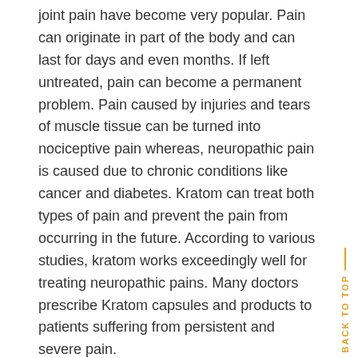joint pain have become very popular. Pain can originate in part of the body and can last for days and even months. If left untreated, pain can become a permanent problem. Pain caused by injuries and tears of muscle tissue can be turned into nociceptive pain whereas, neuropathic pain is caused due to chronic conditions like cancer and diabetes. Kratom can treat both types of pain and prevent the pain from occurring in the future. According to various studies, kratom works exceedingly well for treating neuropathic pains. Many doctors prescribe Kratom capsules and products to patients suffering from persistent and severe pain.
Relieves anxiety
Conditions like anxiety and depression can be caused due to genetics and outside factors. Anxiety can also lead to other mental health problems and social problems. Kratom can help to elevate the mood by